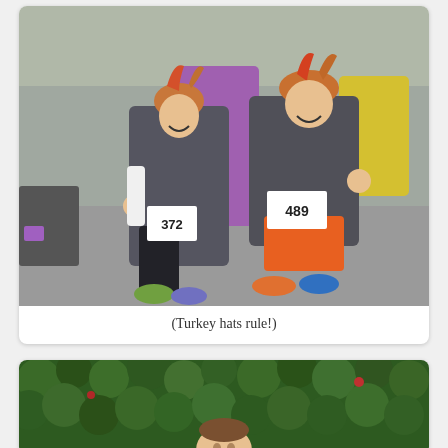[Figure (photo): Two women runners wearing turkey hats and race bibs (numbers 372 and 489) in gray t-shirts running in a road race, smiling and waving at camera. Crowd of other runners visible in background. One runner wearing orange shorts.]
(Turkey hats rule!)
[Figure (photo): A child running outdoors with a dense green hedge/bushes in the background.]